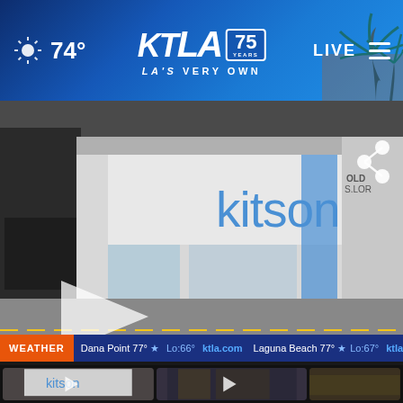74° KTLA 75 YEARS LA'S VERY OWN LIVE
[Figure (screenshot): KTLA news website screenshot showing main video thumbnail of Kitson store on Beverly Hills/West Hollywood street with play button overlay, share icon, weather ticker at bottom showing Dana Point 77° Lo:66° ktla.com, Laguna Beach 77° Lo:67° ktla.com, 77° 5:31p, KTLA 75 years watermark, NEWS ATC banner overlay, and three smaller video thumbnails below]
Beverly Hills store... | Vehicle... | Rain...